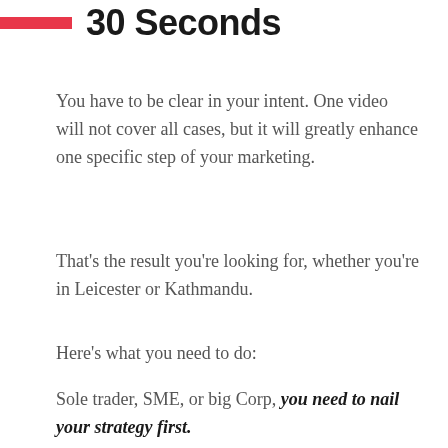30 Seconds
You have to be clear in your intent. One video will not cover all cases, but it will greatly enhance one specific step of your marketing.
That's the result you're looking for, whether you're in Leicester or Kathmandu.
Here's what you need to do:
Sole trader, SME, or big Corp, you need to nail your strategy first.